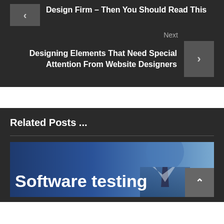Design Firm – Then You Should Read This
Next
Designing Elements That Need Special Attention From Website Designers
Related Posts ...
[Figure (photo): A man in a suit and tie with text overlay reading 'Software testing']